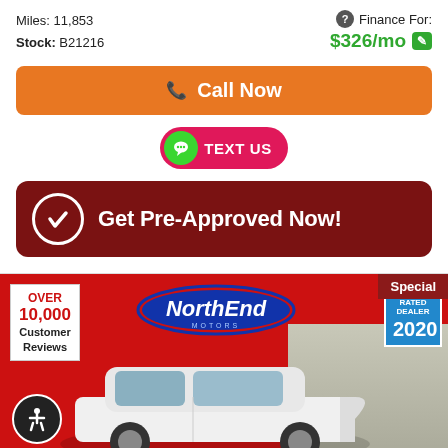Miles: 11,853
Stock: B21216
Finance For: $326/mo
Call Now
TEXT US
Get Pre-Approved Now!
[Figure (screenshot): NorthEnd Motors dealer banner with car image, 'OVER 10,000 Customer Reviews' box, NorthEnd logo, Top Rated Dealer 2020 badge, accessibility icon, and red background. A 'Special' tag appears in the top-right corner.]
Text Us